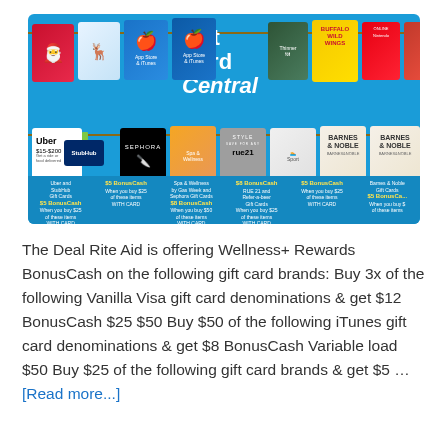[Figure (photo): Rite Aid Gift Card Central promotional banner showing multiple gift cards hung on clotheslines including Vanilla Visa, Apple iTunes, Buffalo Wild Wings, Nintendo, Uber, StubHub, Sephora, Spa & Wellness, Rue 21, Barnes & Noble, and others with BonusCash offer details below each card.]
The Deal Rite Aid is offering Wellness+ Rewards BonusCash on the following gift card brands: Buy 3x of the following Vanilla Visa gift card denominations & get $12 BonusCash $25 $50 Buy $50 of the following iTunes gift card denominations & get $8 BonusCash Variable load $50 Buy $25 of the following gift card brands & get $5 … [Read more...]